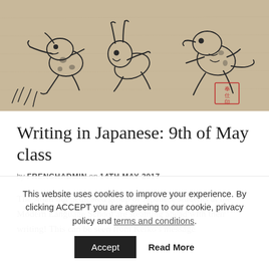[Figure (illustration): Japanese ink illustration on aged paper showing animated animal figures (frogs and a rabbit) in dynamic poses, with a red seal stamp in the lower right area. Traditional Japanese scroll painting style (Chōjū-giga).]
Writing in Japanese: 9th of May class
by FRENCHADMIN on 14TH MAY 2017
The small but dedicated group of Japanese students at the Modern Language School are steaming ahead with their writing! This can be seen from Keiko's message
This website uses cookies to improve your experience. By clicking ACCEPT you are agreeing to our cookie, privacy policy and terms and conditions.